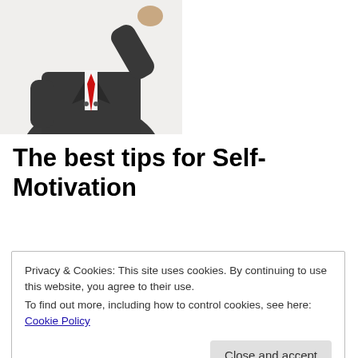[Figure (photo): Partial view of a man in a dark suit with a red tie, raising his hand, cropped at waist level, white background]
The best tips for Self-Motivation
I have a confession to make; I, on occasion, have felt a little demotivated.
[Figure (photo): A bald man peering over the bottom edge, with another figure's arm extended palm up, white background]
Privacy & Cookies: This site uses cookies. By continuing to use this website, you agree to their use.
To find out more, including how to control cookies, see here: Cookie Policy
Close and accept